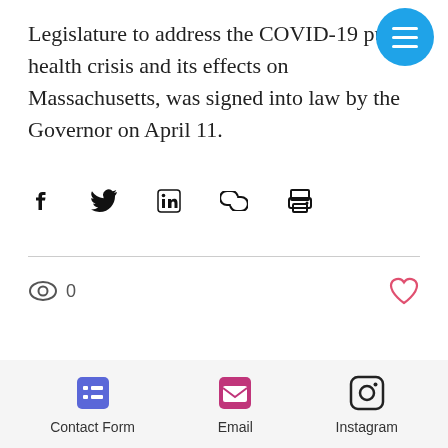Legislature to address the COVID-19 public health crisis and its effects on Massachusetts, was signed into law by the Governor on April 11.
[Figure (infographic): Social share icons row: Facebook, Twitter, LinkedIn, Link/Chain, Print]
[Figure (infographic): Views count with eye icon showing 0 views, and a heart/like icon on the right]
[Figure (infographic): Pagination dots: gray dot (inactive) and black dot (active)]
Contact Form  Email  Instagram